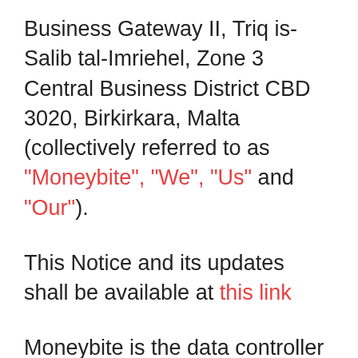Business Gateway II, Triq is-Salib tal-Imriehel, Zone 3 Central Business District CBD 3020, Birkirkara, Malta (collectively referred to as "Moneybite", "We", "Us" and "Our").
This Notice and its updates shall be available at this link
Moneybite is the data controller of your personal data, and has